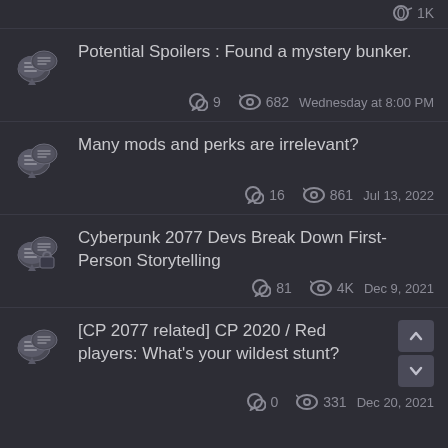Potential Spoilers : Found a mystery bunker. | 9 replies | 682 views | Wednesday at 8:00 PM
Many mods and perks are irrelevant? | 16 replies | 861 views | Jul 13, 2022
Cyberpunk 2077 Devs Break Down First-Person Storytelling | 81 replies | 4K views | Dec 9, 2021
[CP 2077 related] CP 2020 / Red players: What's your wildest stunt? | 0 replies | 331 views | Dec 20, 2021